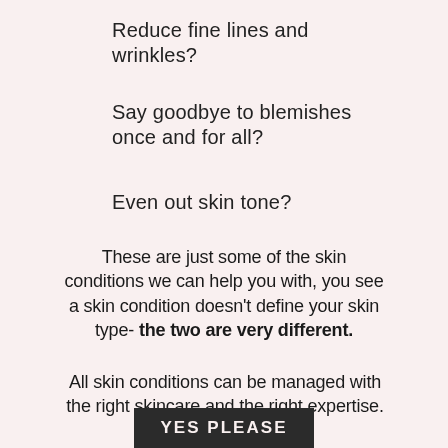Reduce fine lines and wrinkles?
Say goodbye to blemishes once and for all?
Even out skin tone?
These are just some of the skin conditions we can help you with, you see a skin condition doesn't define your skin type- the two are very different.
All skin conditions can be managed with the right skincare and the right expertise.
YES PLEASE